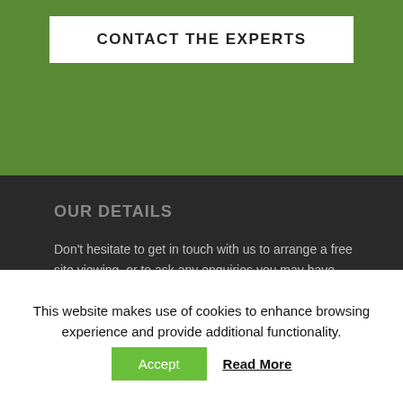CONTACT THE EXPERTS
OUR DETAILS
Don't hesitate to get in touch with us to arrange a free site viewing, or to ask any enquiries you may have.
Address:
Peveril 11
This website makes use of cookies to enhance browsing experience and provide additional functionality.
Accept
Read More